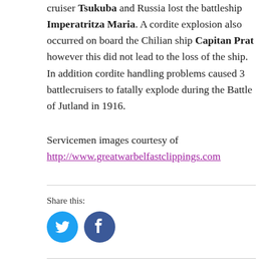cruiser Tsukuba and Russia lost the battleship Imperatritza Maria. A cordite explosion also occurred on board the Chilian ship Capitan Prat however this did not lead to the loss of the ship. In addition cordite handling problems caused 3 battlecruisers to fatally explode during the Battle of Jutland in 1916.
Servicemen images courtesy of http://www.greatwarbelfastclippings.com
Share this:
[Figure (illustration): Twitter and Facebook share buttons (circular icons, Twitter in cyan, Facebook in dark blue)]